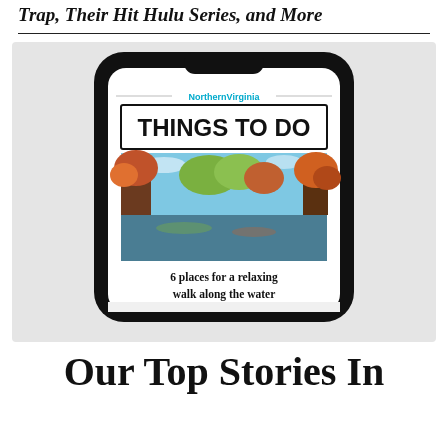Trap, Their Hit Hulu Series, and More
[Figure (photo): A smartphone mockup displaying the Northern Virginia 'Things To Do' app screen, featuring a scenic autumn lake photo and text '6 places for a relaxing walk along the water']
Our Top Stories In